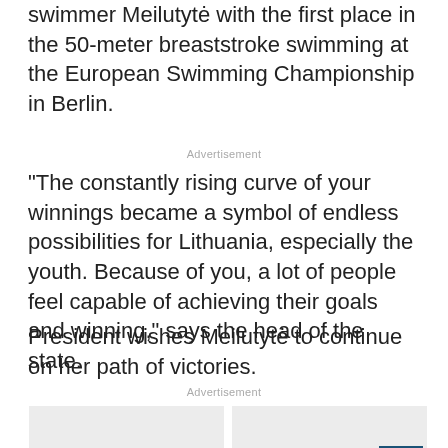swimmer Meilutytė with the first place in the 50-meter breaststroke swimming at the European Swimming Championship in Berlin.
Advertisement
“The constantly rising curve of your winnings became a symbol of endless possibilities for Lithuania, especially the youth. Because of you, a lot of people feel capable of achieving their goals and winning,” says the head of the state.
President wishes Meilutytė to continue on her path of victories.
Advertisement
[Figure (other): Two advertisement placeholder boxes side by side with a back-to-top button in the bottom right corner of the right box.]